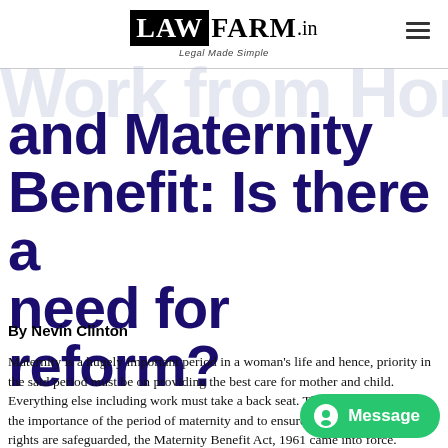[Figure (logo): LawFarm.in logo with tagline 'Legal Made Simple']
Work from Home and Maternity Benefit: Is there a need for reform?
By Nevin Clinton
Maternity is a hugely important period in a woman's life and hence, priority in the said period must be on providing the best care for mother and child. Everything else including work must take a back seat. Therefore, to recognise the importance of the period of maternity and to ensure that a working woman's rights are safeguarded, the Maternity Benefit Act, 1961 came into force.